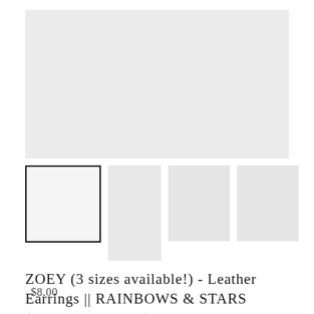[Figure (photo): Main product image placeholder — large light gray rectangle]
[Figure (photo): Thumbnail image 1 — selected, with black border, light gray square]
[Figure (photo): Thumbnail image 2 — taller light gray rectangle]
[Figure (photo): Thumbnail image 3 — light gray square]
[Figure (photo): Thumbnail image 4 — light gray square]
ZOEY (3 sizes available!) - Leather Earrings || RAINBOWS & STARS (FAUX LEATHER)
$8.00